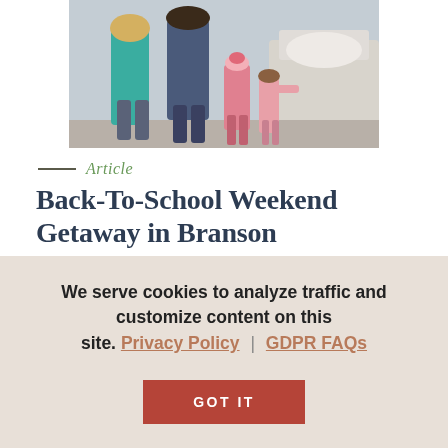[Figure (photo): Family with children walking, cropped to torso/legs view, indoors near a bed or couch. Adults and two young children visible.]
Article
Back-To-School Weekend Getaway in Branson
It's almost that time of year again ... time for a new school year. Before the
We serve cookies to analyze traffic and customize content on this site. Privacy Policy | GDPR FAQs
GOT IT